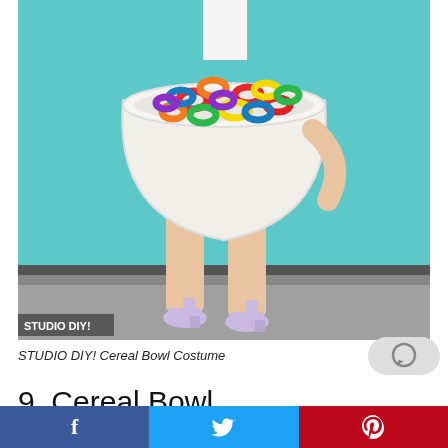[Figure (photo): A person wearing a giant white cereal bowl costume filled with colorful cereal rings (Froot Loops style), standing against a turquoise wall. The person's legs are visible below the bowl and they are wearing lavender block-heel shoes. In the lower left corner a watermark reads 'STUDIO DIY!'.]
STUDIO DIY! Cereal Bowl Costume
9. Cereal Bowl
[Figure (other): Comment button icon - grey rounded pill shape with speech bubble icon]
f  t  p (social share bar - Facebook, Twitter, Pinterest)